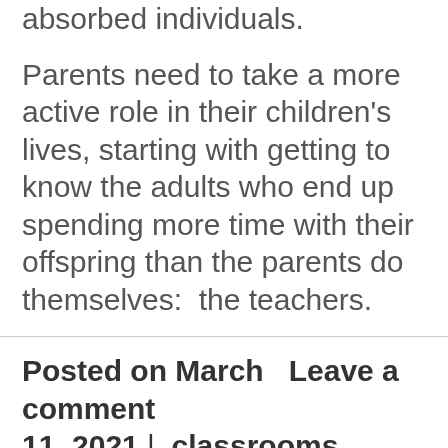absorbed individuals.
Parents need to take a more active role in their children's lives, starting with getting to know the adults who end up spending more time with their offspring than the parents do themselves:  the teachers.
Posted on March 11, 2021 | Leave a comment classrooms, coronavirus,